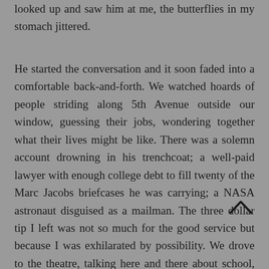looked up and saw him at me, the butterflies in my stomach jittered.
He started the conversation and it soon faded into a comfortable back-and-forth. We watched hoards of people striding along 5th Avenue outside our window, guessing their jobs, wondering together what their lives might be like. There was a solemn account drowning in his trenchcoat; a well-paid lawyer with enough college debt to fill twenty of the Marc Jacobs briefcases he was carrying; a NASA astronaut disguised as a mailman. The three dollar tip I left was not so much for the good service but because I was exhilarated by possibility. We drove to the theatre, talking here and there about school, sports, and an upcoming career conference we were both involved in. He told me about his childhood, and I glanced at him from time to time over the wheel, his eyes engulfed in what he was